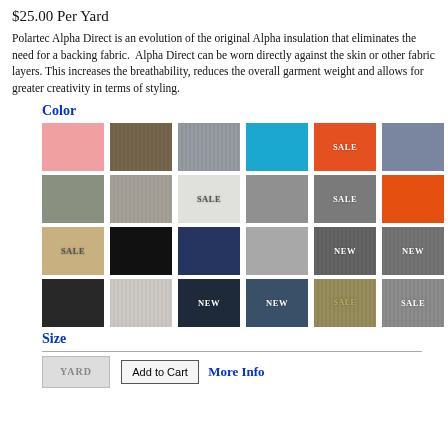$25.00 Per Yard
Polartec Alpha Direct is an evolution of the original Alpha insulation that eliminates the need for a backing fabric.  Alpha Direct can be worn directly against the skin or other fabric layers. This increases the breathability, reduces the overall garment weight and allows for greater creativity in terms of styling.
Color
[Figure (other): Color swatch grid showing 24 fabric color options arranged in 4 rows of 6. Row 1: pink, brown texture, gray-blue texture, cyan/turquoise, orange (SALE), slate blue. Row 2: sage green, warm gray texture, light/white (SALE), medium gray, dark gray (SALE), orange. Row 3: tan (SALE), black, navy, light gray, dark textured gray (NEW), charcoal textured (NEW). Row 4: near-black, heather gray texture, dark navy (NEW), denim blue (NEW), olive texture (SALE), gray texture (SALE).]
Size
YARD   Add to Cart   More Info